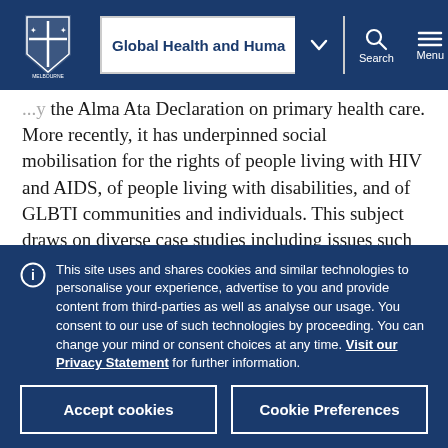Global Health and Huma [navigation bar with University of Melbourne logo, search, menu]
the Alma Ata Declaration on primary health care. More recently, it has underpinned social mobilisation for the rights of people living with HIV and AIDS, of people living with disabilities, and of GLBTI communities and individuals. This subject draws on diverse case studies including issues such as: climate
This site uses and shares cookies and similar technologies to personalise your experience, advertise to you and provide content from third-parties as well as analyse our usage. You consent to our use of such technologies by proceeding. You can change your mind or consent choices at any time. Visit our Privacy Statement for further information.
Accept cookies
Cookie Preferences